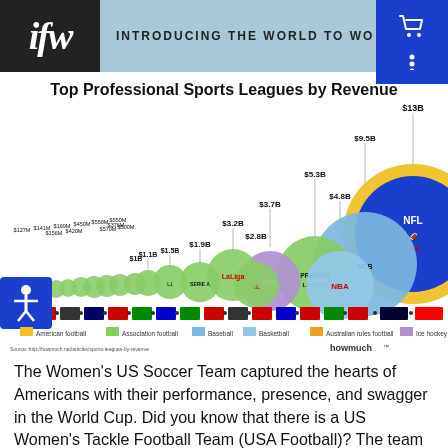ifw · INTRODUCING THE WORLD TO WO
Top Professional Sports Leagues by Revenue
[Figure (bubble-chart): Bubble chart showing top professional sports leagues by revenue. NFL leads at $13B, followed by MLB at $9.5B, NBA at $4.8B, Premier League at $5.3B, NHL at $3.7B, Bundesliga at $2.8B, La Liga at $3.2B, Serie A at $1.9B, and many smaller leagues below $1.5B. Bubbles are colored by sport type: gold=American football, green=Association football, blue=Baseball, light blue=Basketball, orange=Australian rules football, purple=Ice hockey. Country flags shown below each bubble.]
The Women's US Soccer Team captured the hearts of Americans with their performance, presence, and swagger in the World Cup. Did you know that there is a US Women's Tackle Football Team (USA Football)? The team is comprised of